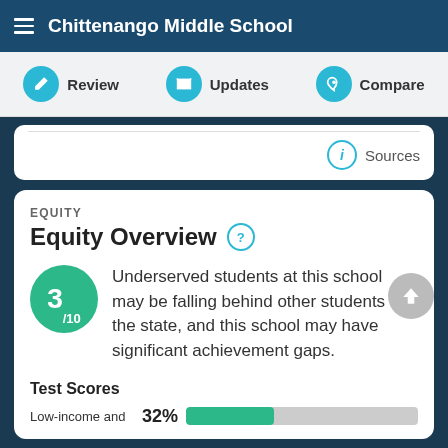Chittenango Middle School
Review   Updates   Compare
Sources
EQUITY
Equity Overview
3/10 Underserved students at this school may be falling behind other students in the state, and this school may have significant achievement gaps.
Test Scores
Low-income and   32%